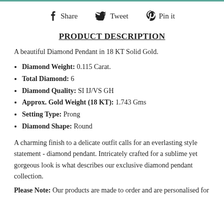Share  Tweet  Pin it
PRODUCT DESCRIPTION
A beautiful Diamond Pendant in 18 KT Solid Gold.
Diamond Weight: 0.115 Carat.
Total Diamond: 6
Diamond Quality: SI IJ/VS GH
Approx. Gold Weight (18 KT): 1.743 Gms
Setting Type: Prong
Diamond Shape: Round
A charming finish to a delicate outfit calls for an everlasting style statement - diamond pendant. Intricately crafted for a sublime yet gorgeous look is what describes our exclusive diamond pendant collection.
Please Note: Our products are made to order and are personalised for